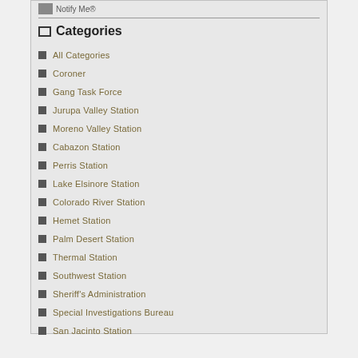Categories
All Categories
Coroner
Gang Task Force
Jurupa Valley Station
Moreno Valley Station
Cabazon Station
Perris Station
Lake Elsinore Station
Colorado River Station
Hemet Station
Palm Desert Station
Thermal Station
Southwest Station
Sheriff's Administration
Special Investigations Bureau
San Jacinto Station